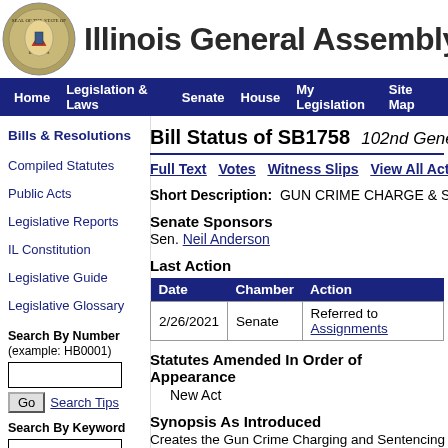Illinois General Assembly
Home | Legislation & Laws | Senate | House | My Legislation | Site Map
Bills & Resolutions
Compiled Statutes
Public Acts
Legislative Reports
IL Constitution
Legislative Guide
Legislative Glossary
Bill Status of SB1758  102nd General Assembly
Full Text  Votes  Witness Slips  View All Actions
Short Description:  GUN CRIME CHARGE & SEN...
Senate Sponsors
Sen. Neil Anderson
Last Action
| Date | Chamber | Action |
| --- | --- | --- |
| 2/26/2021 | Senate | Referred to Assignments |
Statutes Amended In Order of Appearance
New Act
Synopsis As Introduced
Creates the Gun Crime Charging and Sentencing A...